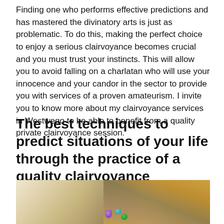Finding one who performs effective predictions and has mastered the divinatory arts is just as problematic. To do this, making the perfect choice to enjoy a serious clairvoyance becomes crucial and you must trust your instincts. This will allow you to avoid falling on a charlatan who will use your innocence and your candor in the sector to provide you with services of a proven amateurism. I invite you to know more about my clairvoyance services in Westwego to be able to benefit from a quality private clairvoyance session.
The best techniques to predict situations of your life through the practice of a quality clairvoyance
[Figure (photo): A photograph showing an open ancient book with pages, colorful tarot cards spread out, and gemstones (purple, teal, green) on a dark surface.]